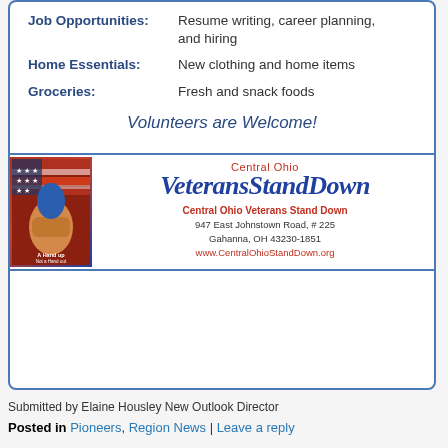Job Opportunities: Resume writing, career planning, and hiring
Home Essentials: New clothing and home items
Groceries: Fresh and snack foods
Volunteers are Welcome!
[Figure (logo): Central Ohio Veterans Stand Down logo with 'A Hand up Not a Hand out' illustration and organization name in stylized script. Address: 947 East Johnstown Road, #225, Gahanna, OH 43230-1851, www.CentralOhioStandDown.org]
Submitted by Elaine Housley New Outlook Director
Posted in Pioneers, Region News | Leave a reply